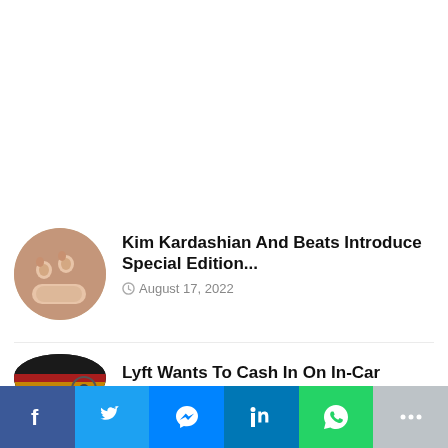[Figure (photo): Circular thumbnail of Beats earbuds in beige/nude color with charging case]
Kim Kardashian And Beats Introduce Special Edition...
August 17, 2022
[Figure (photo): Circular thumbnail of Lyft car interior with colored lighting]
Lyft Wants To Cash In On In-Car
[Figure (infographic): Social share bar with Facebook, Twitter, Messenger, LinkedIn, WhatsApp, and More buttons]